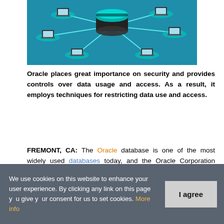[Figure (illustration): A 3D network diagram showing a central database server (dark cylinder on a teal/cyan platform) connected by lines to multiple laptop computers, each on a glowing teal circular node, on a blue background. Represents a database network.]
Oracle places great importance on security and provides controls over data usage and access. As a result, it employs techniques for restricting data use and access.
FREMONT, CA: The Oracle database is one of the most widely used databases today, and the Oracle Corporation came up with the idea for this product. It provides the functions of a relational database management system to the user. Oracle's Relational
We use cookies on this website to enhance your user experience. By clicking any link on this page you give your consent for us to set cookies. More info